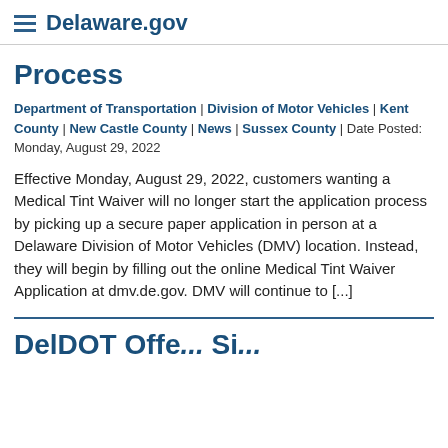Delaware.gov
Process
Department of Transportation | Division of Motor Vehicles | Kent County | New Castle County | News | Sussex County | Date Posted: Monday, August 29, 2022
Effective Monday, August 29, 2022, customers wanting a Medical Tint Waiver will no longer start the application process by picking up a secure paper application in person at a Delaware Division of Motor Vehicles (DMV) location. Instead, they will begin by filling out the online Medical Tint Waiver Application at dmv.de.gov. DMV will continue to [...]
DelDOT Offe... Si...